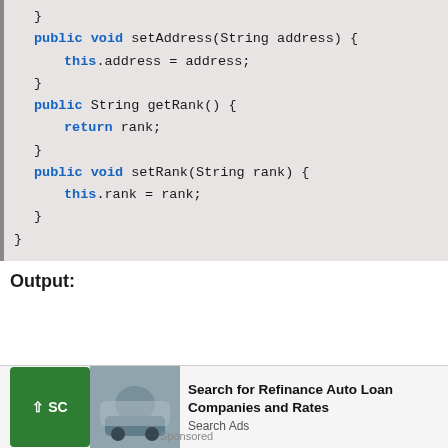} public void setAddress(String address) { this.address = address; } public String getRank() { return rank; } public void setRank(String rank) { this.rank = rank; } }
Output:
[Figure (screenshot): Advertisement bar at bottom: green scroll-to-top button, car image, and text 'Search for Refinance Auto Loan Companies and Rates' with 'Search Ads' subtitle and 'Sponsored' label.]